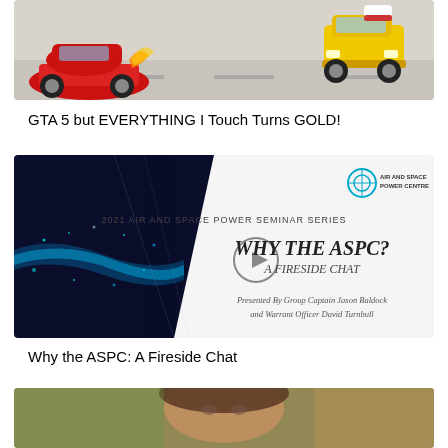[Figure (screenshot): GTA 5 video thumbnail showing a red sports car on the left and a yellow car on the right on a light grey road surface background]
GTA 5 but EVERYTHING I Touch Turns GOLD!
[Figure (screenshot): Air and Space Power Centre seminar slide thumbnail with dark blue abstract background on left and white panel on right showing WHY THE ASPC? A FIRESIDE CHAT, presented by Group Captain Jason Baldock and Warrant Officer David Turnbull, 2021 AIR AND SPACE POWER SEMINAR SERIES, with play button icon]
Why the ASPC: A Fireside Chat
[Figure (photo): Partial view of a person's face, blurred background with green and warm tones]